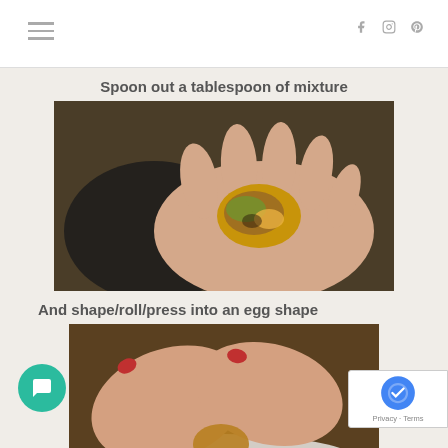Spoon out a tablespoon of mixture
[Figure (photo): A hand holding a small egg-shaped mixture ball above a dark pan]
And shape/roll/press into an egg shape
[Figure (photo): Hands pressing and rolling a mixture into an egg shape on a plate with brown powder]